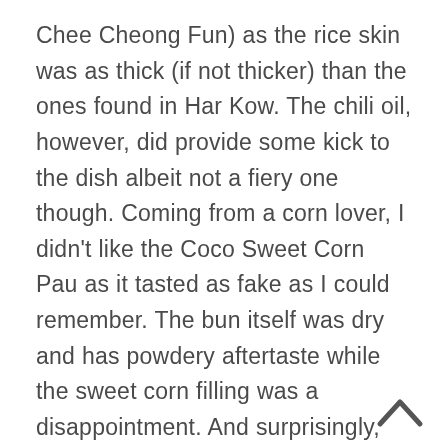Chee Cheong Fun) as the rice skin was as thick (if not thicker) than the ones found in Har Kow. The chili oil, however, did provide some kick to the dish albeit not a fiery one though. Coming from a corn lover, I didn't like the Coco Sweet Corn Pau as it tasted as fake as I could remember. The bun itself was dry and has powdery aftertaste while the sweet corn filling was a disappointment. And surprisingly, for a dim sum joint, they do serve pork noodles too... and boy bad mistake it was. The bowl of noodles was light in flavour despite good amount of pork and lards in it. It lacked of the distinctive taste of a good bowl of goodness. The only saving grace for the (breakfast) meal was